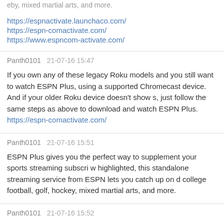eby, mixed martial arts, and more.
https://espnactivate.launchaco.com/
https://espn-comactivate.com/
https://www.espncom-activate.com/
Panth0101  21-07-16 15:47
If you own any of these legacy Roku models and you still want to watch ESPN Plus, using a supported Chromecast device. And if your older Roku device doesn't show s, just follow the same steps as above to download and watch ESPN Plus.
https://espn-comactivate.com/
Panth0101  21-07-16 15:51
ESPN Plus gives you the perfect way to supplement your sports streaming subscri w highlighted, this standalone streaming service from ESPN lets you catch up on d college football, golf, hockey, mixed martial arts, and more.
Panth0101  21-07-16 15:52
ESPN lets you catch up on different types of sports such as college football, golf, h more.